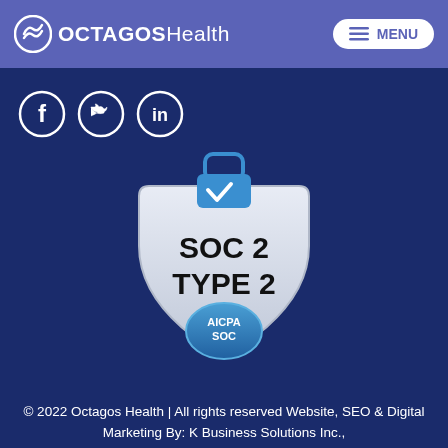OCTAGOSHealth MENU
[Figure (logo): Social media icons: Facebook, Twitter, LinkedIn — white circle outlines on dark navy background]
[Figure (illustration): SOC 2 TYPE 2 certification badge — silver shield with blue padlock and checkmark at top, bold black text 'SOC 2 TYPE 2' on shield, blue AICPA SOC circular seal at bottom]
© 2022 Octagos Health | All rights reserved Website, SEO & Digital Marketing By: K Business Solutions Inc.,